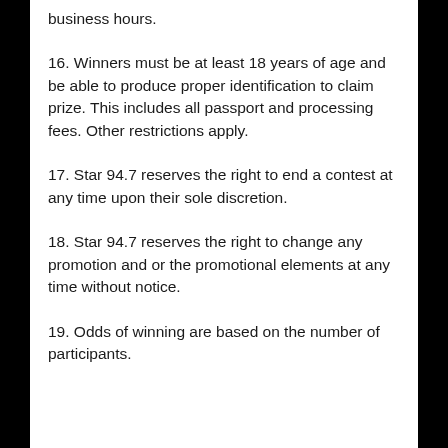business hours.
16. Winners must be at least 18 years of age and be able to produce proper identification to claim prize. This includes all passport and processing fees. Other restrictions apply.
17. Star 94.7 reserves the right to end a contest at any time upon their sole discretion.
18. Star 94.7 reserves the right to change any promotion and or the promotional elements at any time without notice.
19. Odds of winning are based on the number of participants.